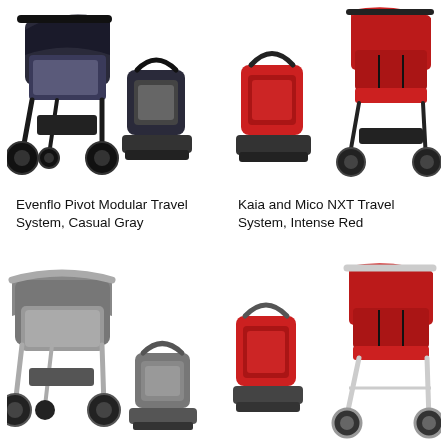[Figure (photo): Evenflo Pivot Modular Travel System in Casual Gray — large black stroller with canopy, infant car seat, and car seat base shown on white background]
[Figure (photo): Kaia and Mico NXT Travel System in Intense Red — red infant car seat with base and red compact stroller shown on white background]
Evenflo Pivot Modular Travel System, Casual Gray
Kaia and Mico NXT Travel System, Intense Red
[Figure (photo): Gray modular travel system stroller with silver frame and infant car seat shown on white background]
[Figure (photo): Red and silver compact travel system with red infant car seat and silver-framed stroller shown on white background]